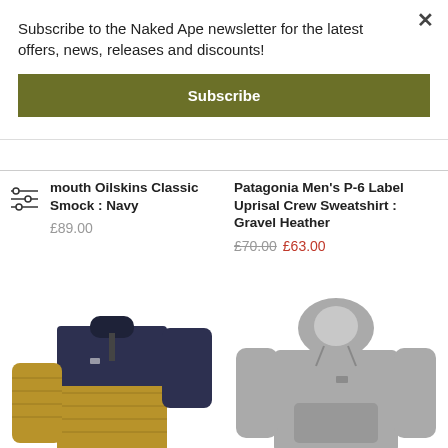Subscribe to the Naked Ape newsletter for the latest offers, news, releases and discounts!
Subscribe
mouth Oilskins Classic Smock : Navy
£89.00
Patagonia Men's P-6 Label Uprisal Crew Sweatshirt : Gravel Heather
£70.00 £63.00
[Figure (photo): Patagonia down pullover jacket in olive/mustard yellow and navy blue]
[Figure (photo): Patagonia grey hoodie sweatshirt]